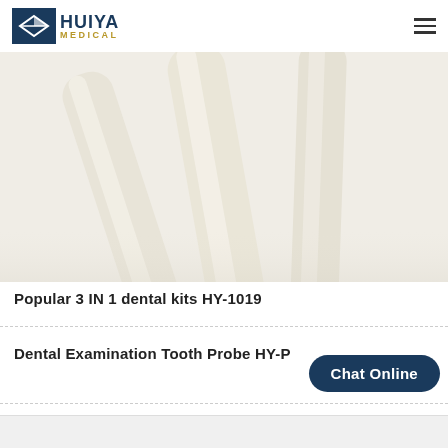HUIYA MEDICAL
[Figure (photo): Close-up photo of three off-white/cream colored dental tools (3 IN 1 dental kit HY-1019) arranged diagonally against a white background.]
Popular 3 IN 1 dental kits HY-1019
Dental Examination Tooth Probe HY-P
Chat Online